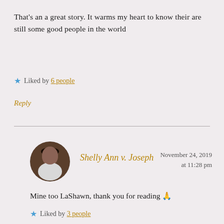That's an a great story. It warms my heart to know their are still some good people in the world
★ Liked by 6 people
Reply
[Figure (photo): Circular avatar photo of Shelly Ann v. Joseph]
Shelly Ann v. Joseph  November 24, 2019 at 11:28 pm
Mine too LaShawn, thank you for reading 🙏
★ Liked by 3 people